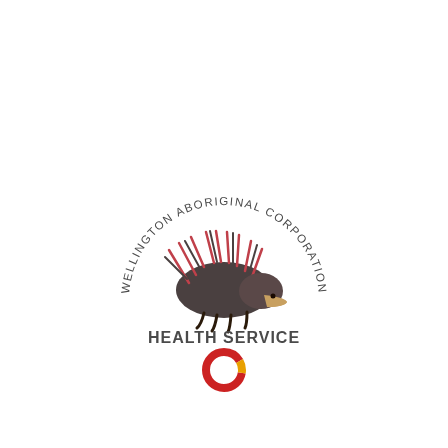[Figure (logo): Wellington Aboriginal Corporation Health Service logo featuring an echidna illustration with pink/red quills and dark body, arched text reading 'WELLINGTON ABORIGINAL CORPORATION' above, 'HEALTH SERVICE' below in bold, and a red/yellow ring symbol beneath.]